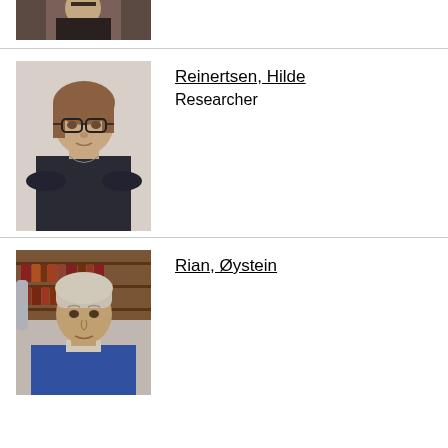[Figure (photo): Partial photo at top of page, cropped person visible from shoulders up]
[Figure (photo): Portrait photo of Hilde Reinertsen, a young woman with glasses and brown hair, wearing a dark top]
Reinertsen, Hilde
Researcher
[Figure (photo): Portrait photo of Øystein Rian, a middle-aged man with short hair, wearing a blue sweater, bookshelves in background]
Rian, Øystein